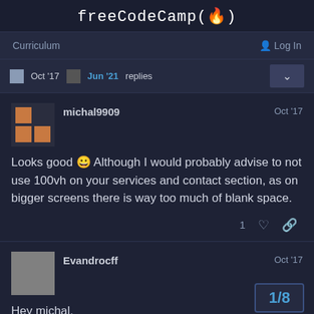freeCodeCamp(🔥)
Curriculum   Log In
Oct '17   Jun '21   replies
michal9909   Oct '17
Looks good 😀 Although I would probably advise to not use 100vh on your services and contact section, as on bigger screens there is way too much of blank space.
1 ♡ 🔗
Evandrocff   Oct '17
Hey michal,
1/8